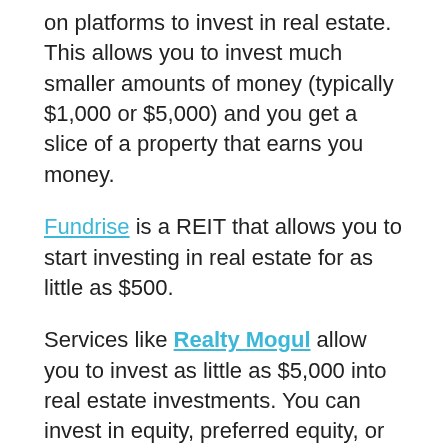on platforms to invest in real estate. This allows you to invest much smaller amounts of money (typically $1,000 or $5,000) and you get a slice of a property that earns you money.
Fundrise is a REIT that allows you to start investing in real estate for as little as $500.
Services like Realty Mogul allow you to invest as little as $5,000 into real estate investments. You can invest in equity, preferred equity, or debt on various projects.
Streitwise is a similar platform to RealtyMogul in that it's a private equity REIT. The minimum is